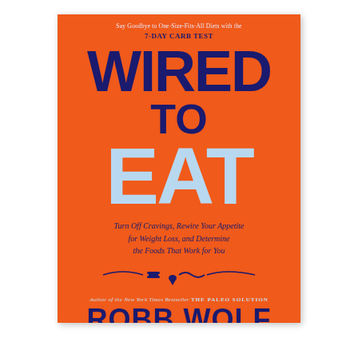Say Goodbye to One-Size-Fits-All Diets with the 7-DAY CARB TEST
WIRED TO EAT
Turn Off Cravings, Rewire Your Appetite for Weight Loss, and Determine the Foods That Work for You
[Figure (illustration): Decorative divider with icons of a burger, ice cream cone, and a fish/wave, flanked by curved lines]
Author of the New York Times Bestseller THE PALEO SOLUTION
ROBB WOLF